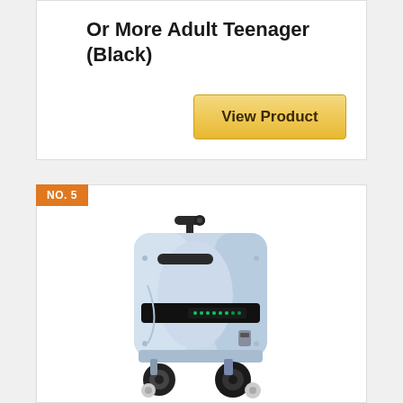Or More Adult Teenager (Black)
View Product
NO. 5
[Figure (photo): A silver/light blue rideable electric suitcase luggage with a handle on top, a black display strip across the front, two large wheels at the bottom, and smaller wheels. The luggage appears to be a motorized/rideable design.]